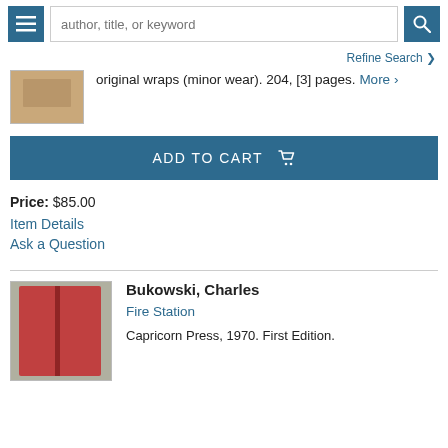author, title, or keyword [search bar with hamburger menu and search button]
Refine Search
original wraps (minor wear). 204, [3] pages. More >
ADD TO CART
Price: $85.00
Item Details
Ask a Question
Bukowski, Charles
Fire Station
Capricorn Press, 1970. First Edition.